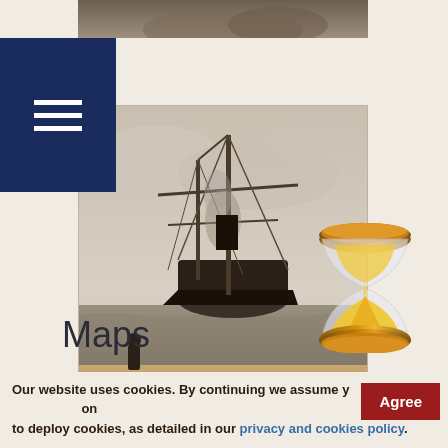[Figure (photo): Partial top strip of a historical photograph, appears to show a mountain or landscape]
[Figure (illustration): Navigation menu / hamburger menu icon with three white horizontal lines on dark navy blue background]
[Figure (photo): Historical black and white photograph of a sailing ship with masts and rigging viewed from the deck of another vessel, smoky sky]
Maps
[Figure (photo): Partial view of a historical map or document thumbnail with cursive handwriting text]
Our website uses cookies. By continuing we assume you agree on to deploy cookies, as detailed in our privacy and cookies policy.
[Figure (illustration): Hourglass emoji with golden sand and brown caps]
Agree